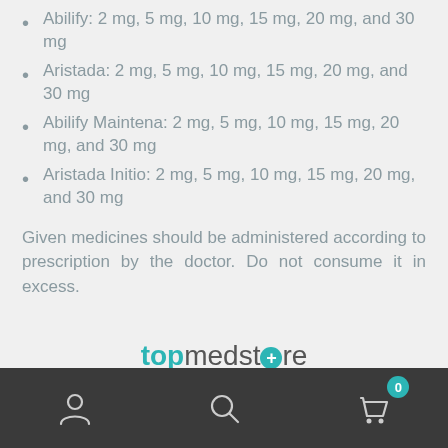Abilify: 2 mg, 5 mg, 10 mg, 15 mg, 20 mg, and 30 mg
Aristada: 2 mg, 5 mg, 10 mg, 15 mg, 20 mg, and 30 mg
Abilify Maintena: 2 mg, 5 mg, 10 mg, 15 mg, 20 mg, and 30 mg
Aristada Initio: 2 mg, 5 mg, 10 mg, 15 mg, 20 mg, and 30 mg
Given medicines should be administered according to prescription by the doctor. Do not consume it in excess.
[Figure (logo): topmedstore logo with teal colored 'top' text and circular plus sign icon, grey 'medstore' text]
The Top Med Store is an established online pharmacy with
Navigation bar with user, search, and cart (0) icons